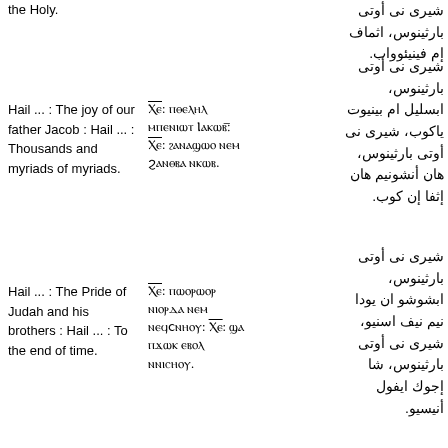the Holy.
شيرى نى أوتى بارثينوس، اثماف إم فينيئوواب.
Hail ... : The joy of our father Jacob : Hail ... : Thousands and myriads of myriads.
ⲬⲈ: ⲡⲑⲉⲗⲏⲗ ⲙⲡⲉⲛⲓⲱⲧ ⲓⲁⲕⲱⲃ: ⲬⲈ: ϩⲁⲛⲁϣⲱⲟ ⲛⲉⲙ ϩⲁⲛⲑⲃⲁ ⲛⲕⲱⲃ.
شيرى نى أوتى بارثينوس، ابسليل ام بينيوت ياكوب، شيرى نى أوتى بارثينوس، هان أنشونيم هان إثفا إن كوب.
Hail ... : The Pride of Judah and his brothers : Hail ... : To the end of time.
ⲬⲈ: ⲡⲱⲟⲣⲱⲟⲣ ⲛⲓⲟⲣⲇⲁ ⲛⲉⲙ ⲛⲉϥϲⲛⲏⲟⲩ: ⲬⲈ: ϣⲁ ⲡϫⲱⲕ ⲉⲃⲟⲗ ⲛⲛⲓⲥⲏⲟⲩ.
شيرى نى أوتى بارثينوس، ابشوشو ان يودا نيم نيف اسنيو، شيرى نى أوتى بارثينوس، شا إجوك ايفول أنيسيو.